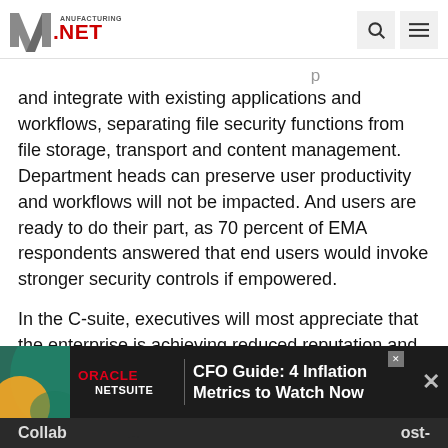Manufacturing.net
and integrate with existing applications and workflows, separating file security functions from file storage, transport and content management. Department heads can preserve user productivity and workflows will not be impacted. And users are ready to do their part, as 70 percent of EMA respondents answered that end users would invoke stronger security controls if empowered.
In the C-suite, executives will most appreciate that the enterprise is achieving reduced reputation and threat of IP exfiltration risks, and improved regulatory compliance.
[Figure (screenshot): Oracle NetSuite advertisement banner: CFO Guide: 4 Inflation Metrics to Watch Now]
Collab... ost-